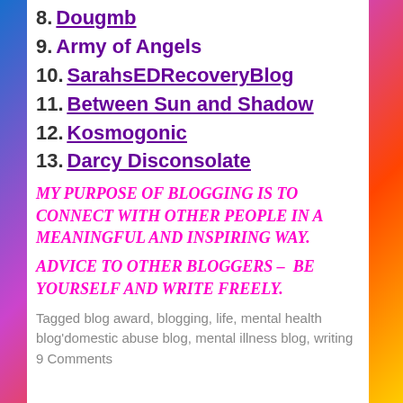8. Dougmb
9. Army of Angels
10. SarahsEDRecoveryBlog
11. Between Sun and Shadow
12. Kosmogonic
13. Darcy Disconsolate
MY PURPOSE OF BLOGGING IS TO CONNECT WITH OTHER PEOPLE IN A MEANINGFUL AND INSPIRING WAY.
ADVICE TO OTHER BLOGGERS – BE YOURSELF AND WRITE FREELY.
Tagged blog award, blogging, life, mental health blog'domestic abuse blog, mental illness blog, writing
9 Comments